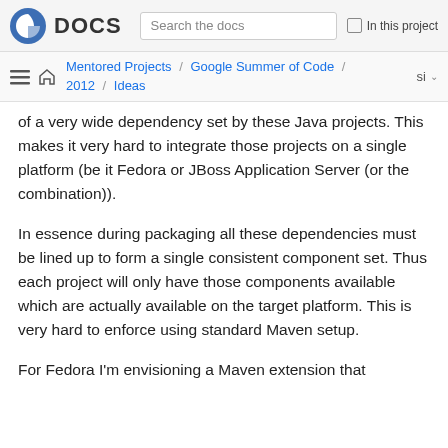Fedora DOCS — Search the docs | In this project
Mentored Projects / Google Summer of Code / 2012 / Ideas
of a very wide dependency set by these Java projects. This makes it very hard to integrate those projects on a single platform (be it Fedora or JBoss Application Server (or the combination)).
In essence during packaging all these dependencies must be lined up to form a single consistent component set. Thus each project will only have those components available which are actually available on the target platform. This is very hard to enforce using standard Maven setup.
For Fedora I'm envisioning a Maven extension that